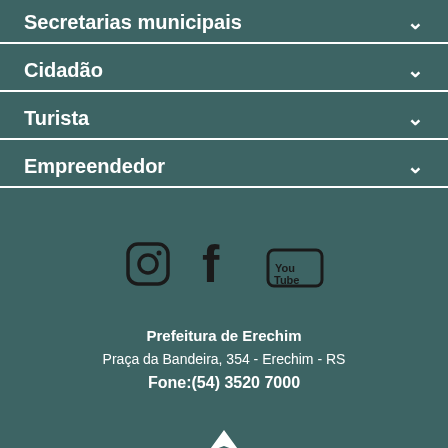Secretarias municipais
Cidadão
Turista
Empreendedor
[Figure (illustration): Social media icons: Instagram, Facebook, YouTube]
Prefeitura de Erechim
Praça da Bandeira, 354 - Erechim - RS
Fone:(54) 3520 7000